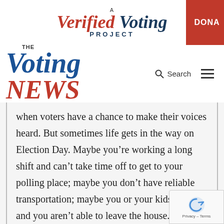[Figure (logo): A Verified Voting Project logo with red 'Verified' and dark blue 'Voting' italic text, plus a red DONATE button on the right]
[Figure (logo): The Voting News logo with dark blue italic 'Voting' and red italic 'NEWS', plus Search icon and hamburger menu on the right]
when voters have a chance to make their voices heard. But sometimes life gets in the way on Election Day. Maybe you’re working a long shift and can’t take time off to get to your polling place; maybe you don’t have reliable transportation; maybe you or your kids get sick and you aren’t able to leave the house. Sometimes we just don’t have time to get to the polls, but